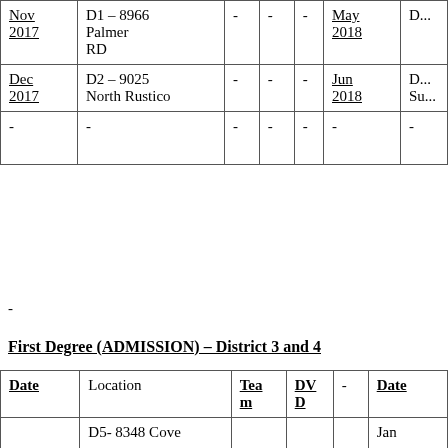| Date | Location | Team | DVD | - | Date |  |
| --- | --- | --- | --- | --- | --- | --- |
| Nov 2017 | D1 – 8966 Palmer RD | - | - | - | May 2018 | D...A... |
| Dec 2017 | D2 – 9025 North Rustico | - | - | - | Jun 2018 | D...Su... |
| - | - | - | - | - | - | - |
-
First Degree (ADMISSION) – District 3 and 4
| Date | Location | Team | DVD | - | Date |
| --- | --- | --- | --- | --- | --- |
|  | D5- 8348 Cove |  |  |  | Jan |